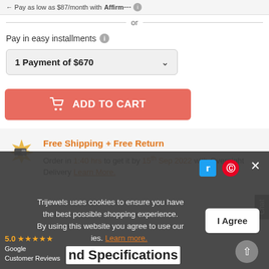Pay as low as $87/month with [Affirm]
or
Pay in easy installments ℹ
1 Payment of $670
ADD TO CART
Free Shipping + Free Return
Order in 1:40 hrs to get it by 15th Sep 2022 with Overnight Delivery Learn More.
Trijewels uses cookies to ensure you have the best possible shopping experience. By using this website you agree to use our cookies. Learn more.
I Agree
5.0 ★★★★★ Google Customer Reviews
nd Specifications